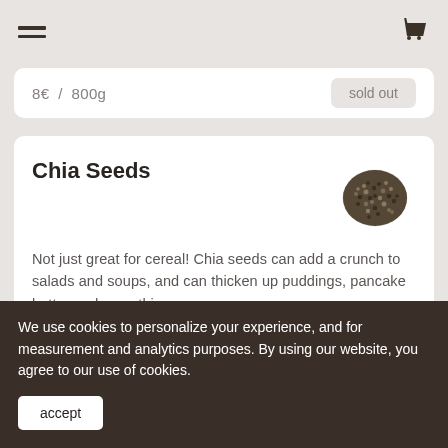Navigation bar with hamburger menu and cart icon
8€ / 800g   sold out
Chia Seeds
[Figure (photo): A pile of chia seeds photographed from above, showing dark spotted seeds in a roughly circular mound against a white background.]
Not just great for cereal! Chia seeds can add a crunch to salads and soups, and can thicken up puddings, pancake batter and smoothies.
9€ / 800g   sold out
We use cookies to personalize your experience, and for measurement and analytics purposes. By using our website, you agree to our use of cookies.